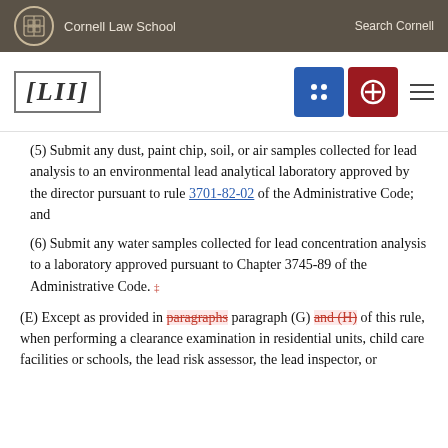Cornell Law School | Search Cornell
[Figure (logo): LII Legal Information Institute logo with navigation buttons]
(5) Submit any dust, paint chip, soil, or air samples collected for lead analysis to an environmental lead analytical laboratory approved by the director pursuant to rule 3701-82-02 of the Administrative Code; and
(6) Submit any water samples collected for lead concentration analysis to a laboratory approved pursuant to Chapter 3745-89 of the Administrative Code.
(E) Except as provided in paragraphs paragraph (G) and (H) of this rule, when performing a clearance examination in residential units, child care facilities or schools, the lead risk assessor, the lead inspector, or